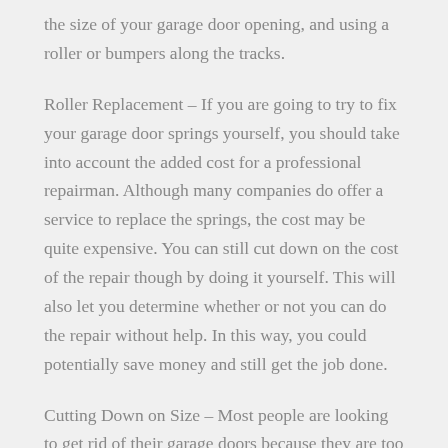the size of your garage door opening, and using a roller or bumpers along the tracks.
Roller Replacement – If you are going to try to fix your garage door springs yourself, you should take into account the added cost for a professional repairman. Although many companies do offer a service to replace the springs, the cost may be quite expensive. You can still cut down on the cost of the repair though by doing it yourself. This will also let you determine whether or not you can do the repair without help. In this way, you could potentially save money and still get the job done.
Cutting Down on Size – Most people are looking to get rid of their garage doors because they are too big. However, that is not always the case. If your doors have been damaged or need repairs, you can still replace some of